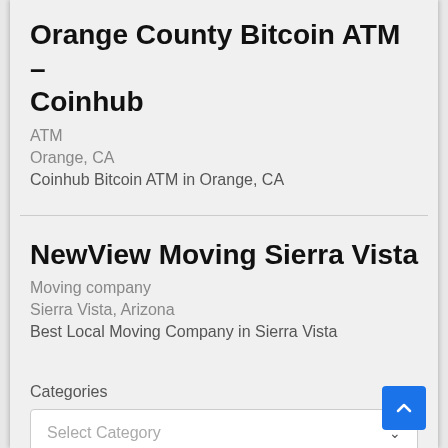Orange County Bitcoin ATM – Coinhub
ATM
Orange, CA
Coinhub Bitcoin ATM in Orange, CA
NewView Moving Sierra Vista
Moving company
Sierra Vista, Arizona
Best Local Moving Company in Sierra Vista
Categories
Select Category